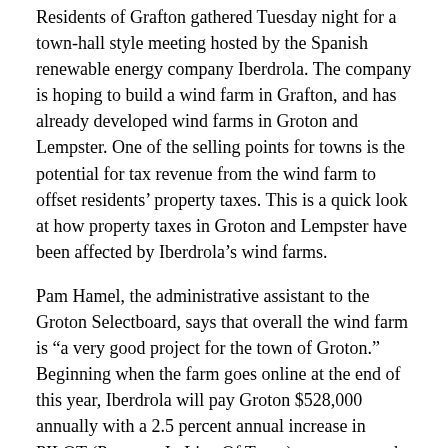Residents of Grafton gathered Tuesday night for a town-hall style meeting hosted by the Spanish renewable energy company Iberdrola. The company is hoping to build a wind farm in Grafton, and has already developed wind farms in Groton and Lempster. One of the selling points for towns is the potential for tax revenue from the wind farm to offset residents' property taxes. This is a quick look at how property taxes in Groton and Lempster have been affected by Iberdrola's wind farms.
Pam Hamel, the administrative assistant to the Groton Selectboard, says that overall the wind farm is "a very good project for the town of Groton." Beginning when the farm goes online at the end of this year, Iberdrola will pay Groton $528,000 annually with a 2.5 percent annual increase in PILOT (Payment In Lieu Of Taxes) payments to the town of Groton. While the county tax burden will likely increase by $100,000 because of the wind farm, Hamel says that cost will be offset by the PILOT payments – leaving Groton with a net gain of more than $428,000 every year. Even before the PILOT payments have gone into effect, Groton has been able to lower the